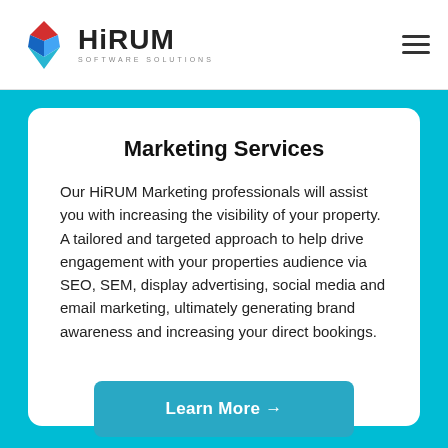[Figure (logo): HiRUM Software Solutions logo with geometric diamond shape in red and blue, and text 'HiRUM SOFTWARE SOLUTIONS']
Marketing Services
Our HiRUM Marketing professionals will assist you with increasing the visibility of your property. A tailored and targeted approach to help drive engagement with your properties audience via SEO, SEM, display advertising, social media and email marketing, ultimately generating brand awareness and increasing your direct bookings.
Learn More →